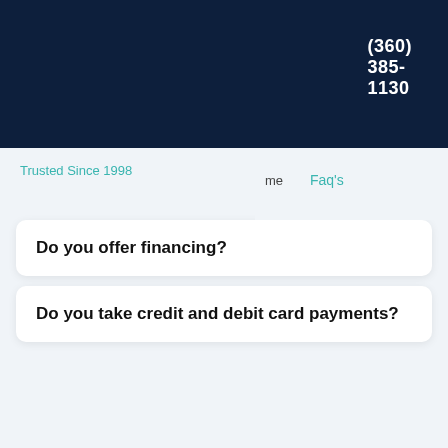(360) 385-1130
me
Faq's
Trusted Since 1998
Do you offer financing?
Do you take credit and debit card payments?